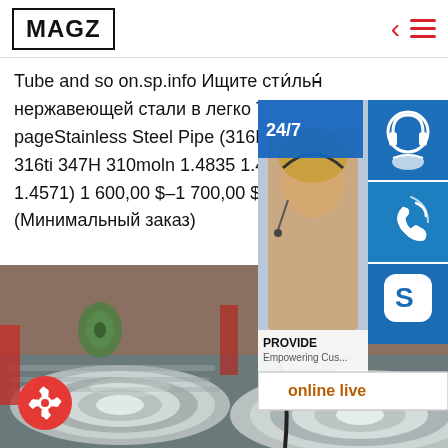MAGZ
Tube and so on.sp.info Ищите стали. нержавеющей стали в легко Tran... pageStainless Steel Pipe (316L 3... 316ti 347H 310moln 1.4835 1.484... 1.4571) 1 600,00 $-1 700,00 $ / т (Минимальный заказ)
[Figure (photo): Customer service widget with photo of woman with headset, 24/7 support icons, phone icon, Skype icon, PROVIDE Empowering Customers text, and online live button]
[Figure (photo): Stainless steel coils/rolls in industrial storage, metallic silver rolls stacked]
[Figure (other): Red circular settings/gear button in bottom left corner]